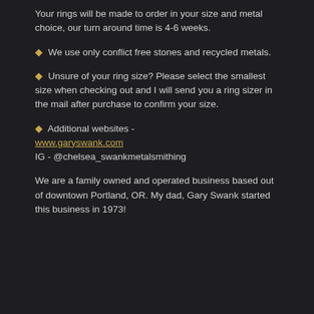Your rings will be made to order in your size and metal choice, our turn around time is 4-6 weeks.
We use only conflict free stones and recycled metals.
Unsure of your ring size? Please select the smallest size when checking out and I will send you a ring sizer in the mail after purchase to confirm your size.
Additional websites - www.garyswank.com IG - @chelsea_swankmetalsmithing
We are a family owned and operated business based out of downtown Portland, OR. My dad, Gary Swank started this business in 1973!